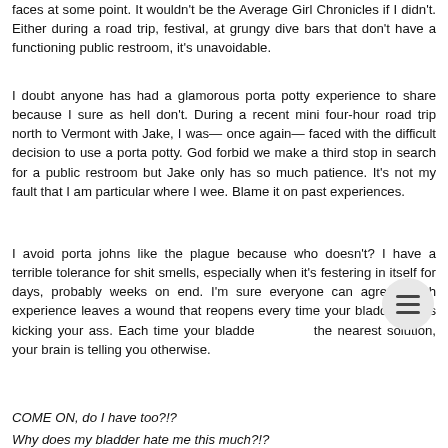faces at some point. It wouldn't be the Average Girl Chronicles if I didn't. Either during a road trip, festival, at grungy dive bars that don't have a functioning public restroom, it's unavoidable.
I doubt anyone has had a glamorous porta potty experience to share because I sure as hell don't. During a recent mini four-hour road trip north to Vermont with Jake, I was— once again— faced with the difficult decision to use a porta potty. God forbid we make a third stop in search for a public restroom but Jake only has so much patience. It's not my fault that I am particular where I wee. Blame it on past experiences.
I avoid porta johns like the plague because who doesn't? I have a terrible tolerance for shit smells, especially when it's festering in itself for days, probably weeks on end. I'm sure everyone can agree. Each experience leaves a wound that reopens every time your bladder starts kicking your ass. Each time your bladder sees the nearest solution, your brain is telling you otherwise.
COME ON, do I have too?!?
Why does my bladder hate me this much?!?